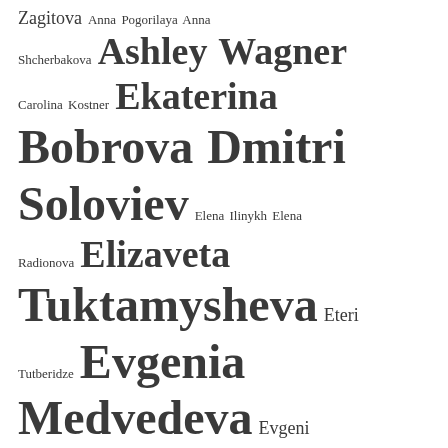[Figure (infographic): Tag cloud of figure skater names and related terms with varying font sizes indicating frequency/importance. Terms include: Zagitova, Anna Pogorilaya, Anna Shcherbakova, Ashley Wagner, Carolina Kostner, Ekaterina Bobrova, Dmitri Soloviev, Elena Ilinykh, Elena Radionova, Elizaveta Tuktamysheva, Eteri Tutberidze, Evgenia Medvedeva, Evgeni Plushenko, Gabriella Papadakis, Guillaume Cizeron, ice dance, interview, Jason Brown, Javier Fernandez, Kaitlin Hawayek, Jean-Luc Baker, Kaitlyn Weaver, Andrew Poje, Kamila Valieva, Ksenia Stolbova, Fedor Klimov, ladies, Madison Chock, Evan Bates, Madison Hubbel, Zachary Donohue]